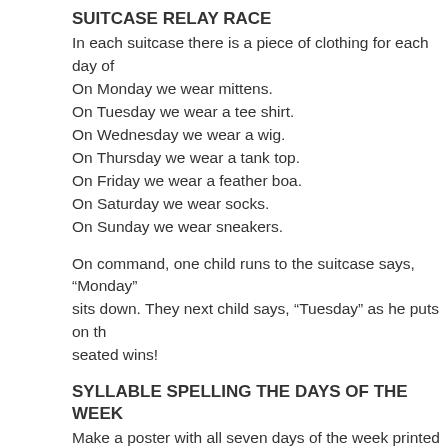SUITCASE RELAY RACE
In each suitcase there is a piece of clothing for each day of
On Monday we wear mittens.
On Tuesday we wear a tee shirt.
On Wednesday we wear a wig.
On Thursday we wear a tank top.
On Friday we wear a feather boa.
On Saturday we wear socks.
On Sunday we wear sneakers.
On command, one child runs to the suitcase says, “Monday” sits down. They next child says, “Tuesday” as he puts on th seated wins!
SYLLABLE SPELLING THE DAYS OF THE WEEK
Make a poster with all seven days of the week printed out.
Cut each day into their syllables.
Sun/day
Mon/day